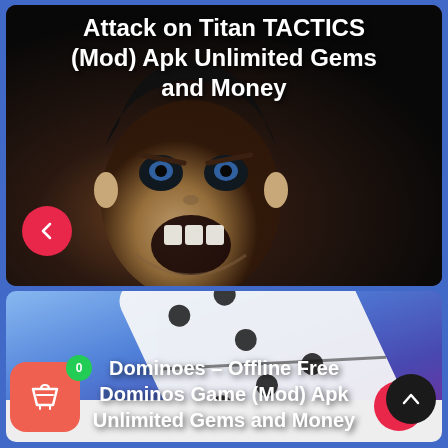[Figure (screenshot): App store listing screenshot showing two game cards. Top card: dark background with anime character, title 'Attack on Titan TACTICS (Mod) Apk Unlimited Gems and Money' in white bold text, red circle back button with left arrow. Bottom card: blue/purple gradient background with domino tiles image, title 'Dominoes – Offline Free Dominos Game (Mod) Apk Unlimited Gems and Money' in white bold text, red circle next button with right arrow. Shopping cart button (orange/red, basket icon, green badge '0') and black circular up-arrow button at bottom.]